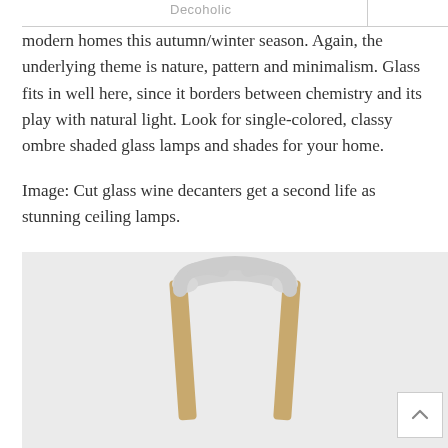Decoholic
modern homes this autumn/winter season. Again, the underlying theme is nature, pattern and minimalism. Glass fits in well here, since it borders between chemistry and its play with natural light. Look for single-colored, classy ombre shaded glass lamps and shades for your home.
Image: Cut glass wine decanters get a second life as stunning ceiling lamps.
[Figure (photo): A minimalist lamp or furniture piece with a white curved metal frame at the top and wooden legs/arms in a natural tan/bamboo color, photographed against a light gray background.]